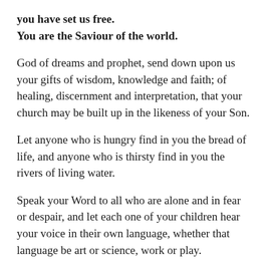you have set us free.
You are the Saviour of the world.
God of dreams and prophet, send down upon us your gifts of wisdom, knowledge and faith; of healing, discernment and interpretation, that your church may be built up in the likeness of your Son.
Let anyone who is hungry find in you the bread of life, and anyone who is thirsty find in you the rivers of living water.
Speak your Word to all who are alone and in fear or despair, and let each one of your children hear your voice in their own language, whether that language be art or science, work or play.